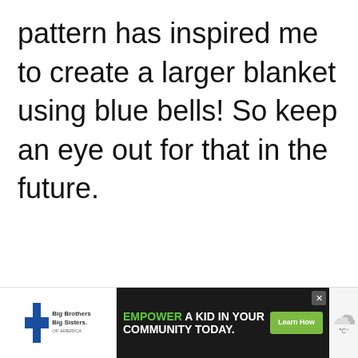pattern has inspired me to create a larger blanket using blue bells! So keep an eye out for that in the future.
[Figure (other): Advertisement placeholder box with ADVERTISEMENT label, heart/like button in teal circle, and share button]
[Figure (other): What's Next navigation bar showing 'Autumn Harvest...' with circular thumbnail]
[Figure (other): Bottom advertisement strip: Big Brothers Big Sisters logo on left, EMPOWER A KID IN YOUR COMMUNITY TODAY. ad with Learn How button]